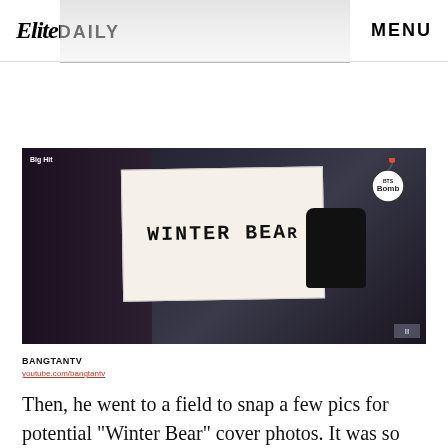Elite Daily  MENU
[Figure (screenshot): BTS Bomb video screenshot showing a person holding a whiteboard sign reading 'WINTER BEAR' with a black bear plush toy. Big Hit label in top left, BTS Bomb logo in top right.]
BANGTANTV
Then, he went to a field to snap a few pics for potential "Winter Bear" cover photos. It was so